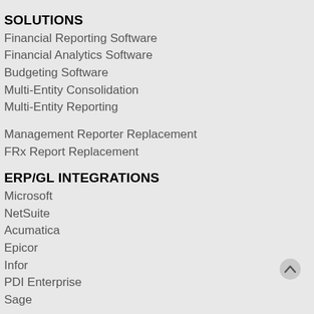SOLUTIONS
Financial Reporting Software
Financial Analytics Software
Budgeting Software
Multi-Entity Consolidation
Multi-Entity Reporting
Management Reporter Replacement
FRx Report Replacement
ERP/GL INTEGRATIONS
Microsoft
NetSuite
Acumatica
Epicor
Infor
PDI Enterprise
Sage